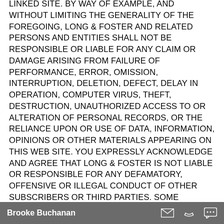LINKED SITE. BY WAY OF EXAMPLE, AND WITHOUT LIMITING THE GENERALITY OF THE FOREGOING, LONG & FOSTER AND RELATED PERSONS AND ENTITIES SHALL NOT BE RESPONSIBLE OR LIABLE FOR ANY CLAIM OR DAMAGE ARISING FROM FAILURE OF PERFORMANCE, ERROR, OMISSION, INTERRUPTION, DELETION, DEFECT, DELAY IN OPERATION, COMPUTER VIRUS, THEFT, DESTRUCTION, UNAUTHORIZED ACCESS TO OR ALTERATION OF PERSONAL RECORDS, OR THE RELIANCE UPON OR USE OF DATA, INFORMATION, OPINIONS OR OTHER MATERIALS APPEARING ON THIS WEB SITE. YOU EXPRESSLY ACKNOWLEDGE AND AGREE THAT LONG & FOSTER IS NOT LIABLE OR RESPONSIBLE FOR ANY DEFAMATORY, OFFENSIVE OR ILLEGAL CONDUCT OF OTHER SUBSCRIBERS OR THIRD PARTIES. SOME JURISDICTIONS MAY NOT ALLOW THE EXCLUSION OR LIMITATION OF LIABILITY FOR CONSEQUENTIAL OR INCIDENTAL DAMAGES. IN SUCH JURISDICTIONS, LONG & FOSTER'S LIABILITY IS LIMITED TO THE GREATEST EXTENT PERMITTED BY LAW.
Brooke Buchanan